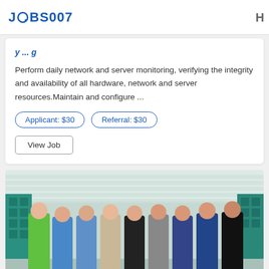JOBS007
Perform daily network and server monitoring, verifying the integrity and availability of all hardware, network and server resources.Maintain and configure ...
Applicant: $30
Referral: $30
View Job
[Figure (photo): Group photo of approximately 9 people standing together giving thumbs up in an office or indoor setting with teal tiles and blinds in the background]